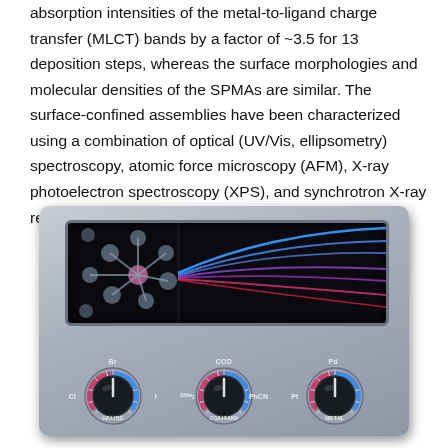absorption intensities of the metal-to-ligand charge transfer (MLCT) bands by a factor of ~3.5 for 13 deposition steps, whereas the surface morphologies and molecular densities of the SPMAs are similar. The surface-confined assemblies have been characterized using a combination of optical (UV/Vis, ellipsometry) spectroscopy, atomic force microscopy (AFM), X-ray photoelectron spectroscopy (XPS), and synchrotron X-ray reflectivity (XRR).
[Figure (illustration): Illustration of a scientific instrument panel with a dark display screen showing a molecular structure on the left and converging spectral lines (blue, purple, pink/red) on the right. Below the screen are three dial knobs labeled HALIDE (with Cl, Br, I markers), CO-LIGAND (with SMe2, COD, PhCN markers), and METAL (with Pt, Pd markers). The panel has a metallic silver/grey appearance.]